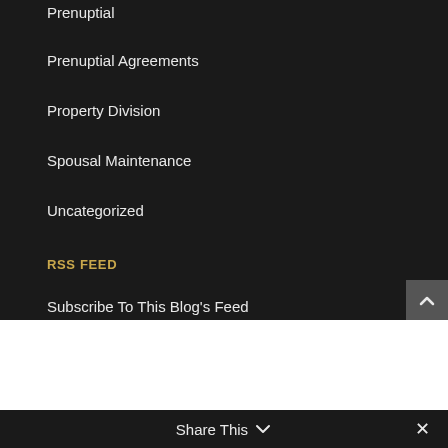Prenuptial
Prenuptial Agreements
Property Division
Spousal Maintenance
Uncategorized
RSS FEED
Subscribe To This Blog's Feed
Share This ∨  ×